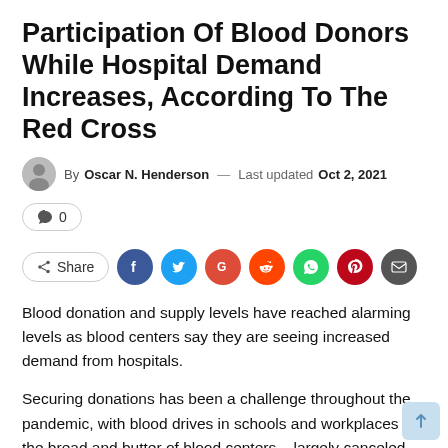Participation Of Blood Donors While Hospital Demand Increases, According To The Red Cross
By Oscar N. Henderson — Last updated Oct 2, 2021
💬 0
Share [Facebook, Twitter, Google+, Reddit, WhatsApp, Pinterest, Email]
Blood donation and supply levels have reached alarming levels as blood centers say they are seeing increased demand from hospitals.
Securing donations has been a challenge throughout the pandemic, with blood drives in schools and workplaces – the bread and butter of blood centers – largely canceled. The American Red Cross saw its lowest participation in blood donors last week since the start of the pandemic, falling 11%